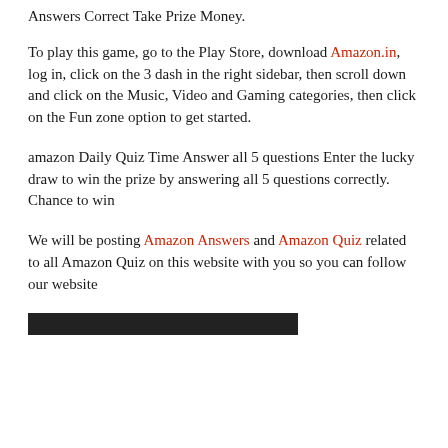Answers Correct Take Prize Money.
To play this game, go to the Play Store, download Amazon.in, log in, click on the 3 dash in the right sidebar, then scroll down and click on the Music, Video and Gaming categories, then click on the Fun zone option to get started.
amazon Daily Quiz Time Answer all 5 questions Enter the lucky draw to win the prize by answering all 5 questions correctly. Chance to win
We will be posting Amazon Answers and Amazon Quiz related to all Amazon Quiz on this website with you so you can follow our website
[Figure (other): Dark/black horizontal bar at the bottom of the page]